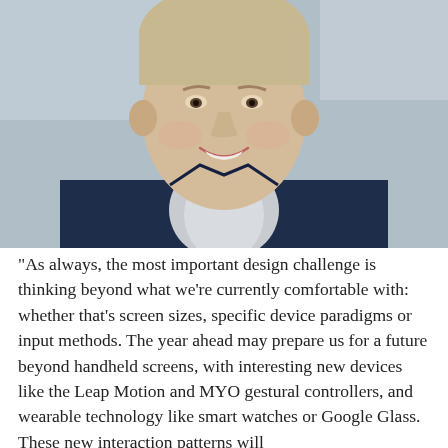[Figure (photo): Portrait photo of a young smiling man wearing a dark navy hoodie/jacket over a light shirt, photographed from roughly chest-up, with a blurred light background.]
“As always, the most important design challenge is thinking beyond what we're currently comfortable with: whether that's screen sizes, specific device paradigms or input methods. The year ahead may prepare us for a future beyond handheld screens, with interesting new devices like the Leap Motion and MYO gestural controllers, and wearable technology like smart watches or Google Glass. These new interaction patterns will